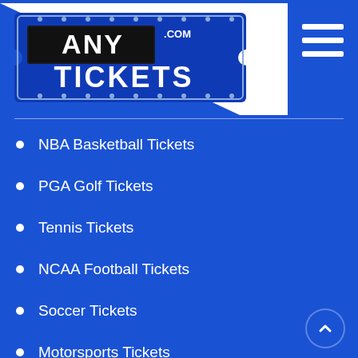[Figure (logo): AnyTickets.com logo — a blue ticket stub with bold white text reading ANY TICKETS .COM on a stylized banner, white diagonal background shape]
NBA Basketball Tickets
PGA Golf Tickets
Tennis Tickets
NCAA Football Tickets
Soccer Tickets
Motorsports Tickets
WNBA Tickets
Horse Racing Tickets
Formula 1 Tickets
Arts, Music & Shows
Concert Tickets
Theater Tickets